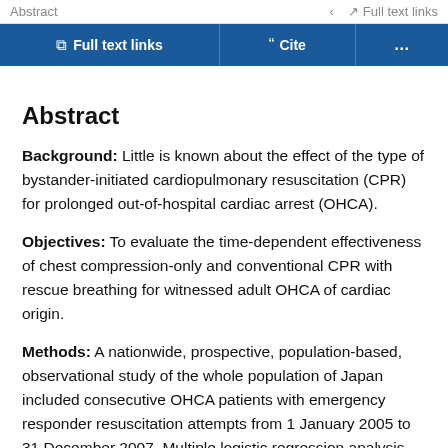Abstract  Full text links
Full text links  Cite  ...
Abstract
Background: Little is known about the effect of the type of bystander-initiated cardiopulmonary resuscitation (CPR) for prolonged out-of-hospital cardiac arrest (OHCA).
Objectives: To evaluate the time-dependent effectiveness of chest compression-only and conventional CPR with rescue breathing for witnessed adult OHCA of cardiac origin.
Methods: A nationwide, prospective, population-based, observational study of the whole population of Japan included consecutive OHCA patients with emergency responder resuscitation attempts from 1 January 2005 to 31 December 2007. Multiple logistic regression analysis